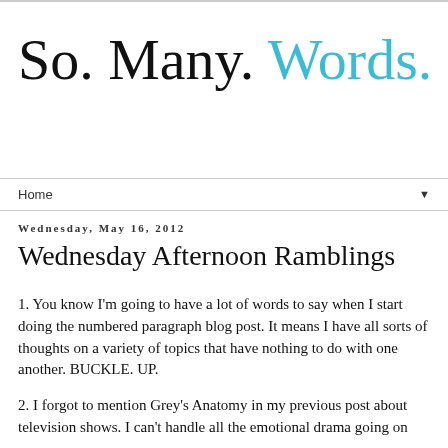So. Many. Words.
Home
Wednesday, May 16, 2012
Wednesday Afternoon Ramblings
1. You know I'm going to have a lot of words to say when I start doing the numbered paragraph blog post. It means I have all sorts of thoughts on a variety of topics that have nothing to do with one another. BUCKLE. UP.
2. I forgot to mention Grey's Anatomy in my previous post about television shows. I can't handle all the emotional drama going on